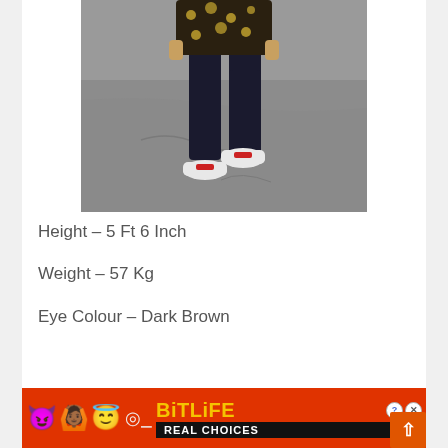[Figure (photo): Photo of a person from waist/torso down, wearing dark jeans, patterned shirt, and white sneakers, walking on an asphalt surface]
Height - 5 Ft 6 Inch
Weight - 57 Kg
Eye Colour - Dark Brown
[Figure (screenshot): BitLife REAL CHOICES advertisement banner with emoji characters on red background]